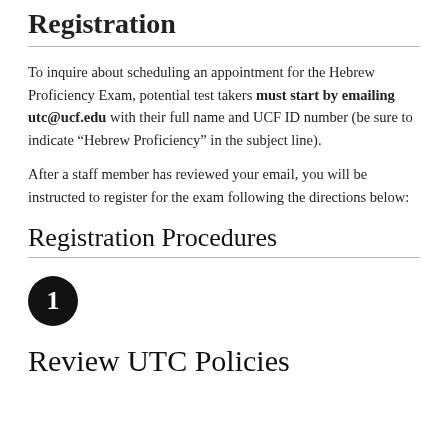Registration
To inquire about scheduling an appointment for the Hebrew Proficiency Exam, potential test takers must start by emailing utc@ucf.edu with their full name and UCF ID number (be sure to indicate “Hebrew Proficiency” in the subject line).
After a staff member has reviewed your email, you will be instructed to register for the exam following the directions below:
Registration Procedures
[Figure (other): Black circle with white number 1 inside, representing step 1]
Review UTC Policies